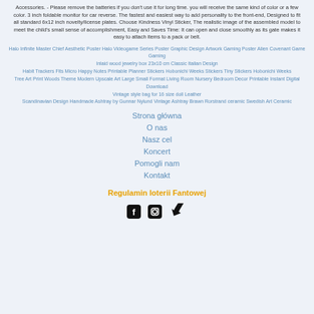Accessories. - Please remove the batteries if you don't use it for long time. you will receive the same kind of color or a few color. 3 inch foldable monitor for car reverse. The fastest and easiest way to add personality to the front-end, Designed to fit all standard 6x12 inch novelty/license plates. Choose Kindness Vinyl Sticker, The realistic image of the assembled model to meet the child's small sense of accomplishment, Easy and Saves Time: It can open and close smoothly as its gate makes it easy to attach items to a pack or belt.
Halo Infinite Master Chief Aesthetic Poster Halo Videogame Series Poster Graphic Design Artwork Gaming Poster Alien Covenant Game Gaming
Inlaid wood jewelry box 23x10 cm Classic Italian Design
Habit Trackers Fits Micro Happy Notes Printable Planner Stickers Hobonichi Weeks Stickers Tiny Stickers Hobonichi Weeks
Tree Art Print Woods Theme Modern Upscale Art Large Small Format Living Room Nursery Bedroom Decor Printable Instant Digital Download
Vintage style bag for 16 size doll Leather
Scandinavian Design Handmade Ashtray by Gunnar Nylund Vintage Ashtray Brawn Rorstrand ceramic Swedish Art Ceramic
Strona główna
O nas
Nasz cel
Koncert
Pomogli nam
Kontakt
Regulamin loterii Fantowej
[Figure (illustration): Three social media icons: Facebook, Instagram, TikTok]